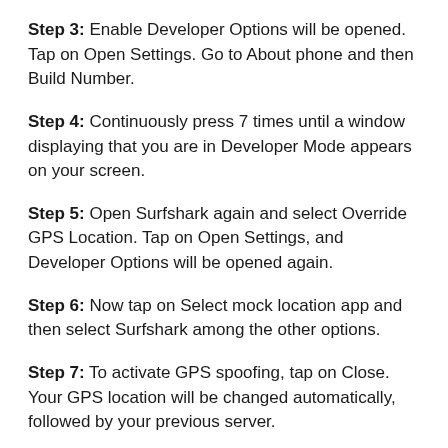Step 3: Enable Developer Options will be opened. Tap on Open Settings. Go to About phone and then Build Number.
Step 4: Continuously press 7 times until a window displaying that you are in Developer Mode appears on your screen.
Step 5: Open Surfshark again and select Override GPS Location. Tap on Open Settings, and Developer Options will be opened again.
Step 6: Now tap on Select mock location app and then select Surfshark among the other options.
Step 7: To activate GPS spoofing, tap on Close. Your GPS location will be changed automatically, followed by your previous server.